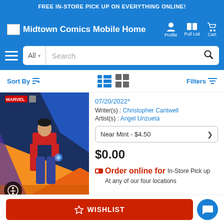FREE IN-STORE PICK UP ON EVERYTHING ONLINE!
[Figure (screenshot): Midtown Comics mobile website header with logo, Profile, Pull List, and Cart navigation icons on blue background]
[Figure (screenshot): Search bar with hamburger menu, All category dropdown, Search input field and search icon button]
[Figure (screenshot): Toolbar row with Sort By, list/grid view toggle icons, and Filters button]
[Figure (photo): Comic book cover showing a male figure in a red shirt with blue pants against an abstract blue and orange background, with Marvel logo at top]
07/20/2022*
Writer(s) : Christopher Cantwell
Artist(s) : Angel Unzueta
Near Mint - $4.50
$0.00
Order online for In-Store Pick up At any of our four locations
WISHLIST